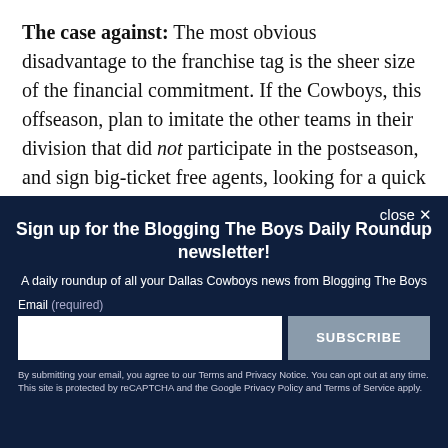The case against: The most obvious disadvantage to the franchise tag is the sheer size of the financial commitment. If the Cowboys, this offseason, plan to imitate the other teams in their division that did not participate in the postseason, and sign big-ticket free agents, looking for a quick fix to last season's
close ✕
Sign up for the Blogging The Boys Daily Roundup newsletter!
A daily roundup of all your Dallas Cowboys news from Blogging The Boys
Email (required)
SUBSCRIBE
By submitting your email, you agree to our Terms and Privacy Notice. You can opt out at any time. This site is protected by reCAPTCHA and the Google Privacy Policy and Terms of Service apply.